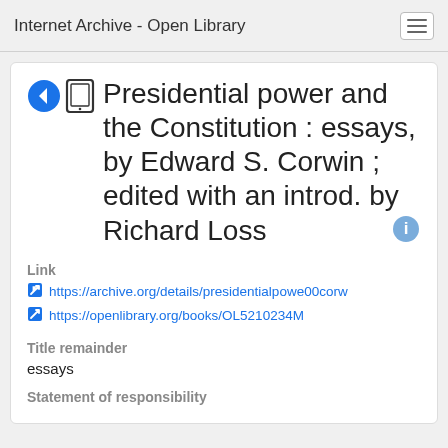Internet Archive - Open Library
Presidential power and the Constitution : essays, by Edward S. Corwin ; edited with an introd. by Richard Loss
Link
https://archive.org/details/presidentialpowe00corw
https://openlibrary.org/books/OL5210234M
Title remainder
essays
Statement of responsibility